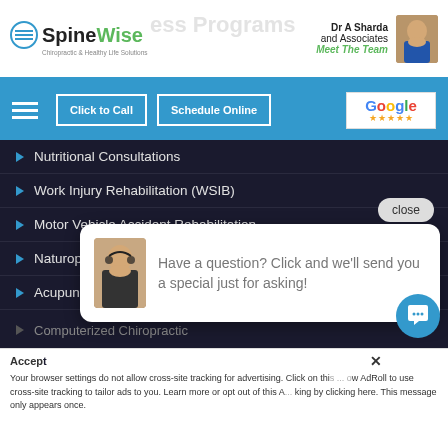[Figure (screenshot): SpineWise website screenshot showing navigation menu with medical services list, header with logo and doctor info, Google review button, and chat overlay popup]
Nutritional Consultations
Work Injury Rehabilitation (WSIB)
Motor Vehicle Accident Rehabilitation
Naturopathic Medicine
Acupuncture
Registered Mass...
Custom Orthopec...
Custom Foot Orth...
X-Ray Services
Spinal Decompression
Computerized Chiropractic
Have a question? Click and we'll send you a special just for asking!
Your browser settings do not allow cross-site tracking for advertising. Click on this ... ow AdRoll to use cross-site tracking to tailor ads to you. Learn more or opt out of this A... king by clicking here. This message only appears once.